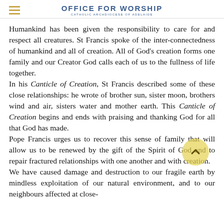OFFICE FOR WORSHIP — CATHOLIC ARCHDIOCESE OF ADELAIDE
Humankind has been given the responsibility to care for and respect all creatures. St Francis spoke of the inter-connectedness of humankind and all of creation. All of God's creation forms one family and our Creator God calls each of us to the fullness of life together.
In his Canticle of Creation, St Francis described some of these close relationships: he wrote of brother sun, sister moon, brothers wind and air, sisters water and mother earth. This Canticle of Creation begins and ends with praising and thanking God for all that God has made.
Pope Francis urges us to recover this sense of family that will allow us to be renewed by the gift of the Spirit of God and to repair fractured relationships with one another and with creation.
We have caused damage and destruction to our fragile earth by mindless exploitation of our natural environment, and to our neighbours affected at close-